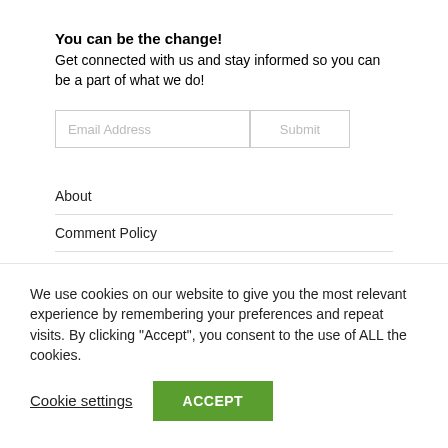You can be the change!
Get connected with us and stay informed so you can be a part of what we do!
[Figure (screenshot): Email address input field with Submit button]
About
Comment Policy
Contact
RSS Feeds
We use cookies on our website to give you the most relevant experience by remembering your preferences and repeat visits. By clicking "Accept", you consent to the use of ALL the cookies.
Cookie settings
ACCEPT